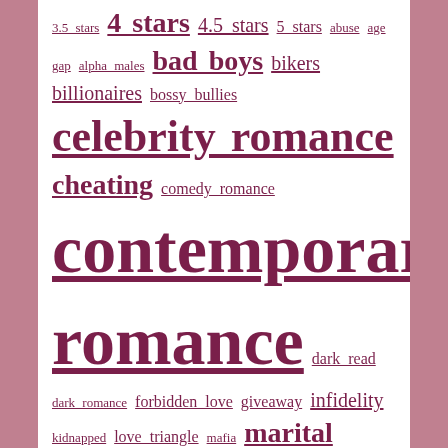3.5 stars 4 stars 4.5 stars 5 stars abuse age gap alpha males bad boys bikers billionaires bossy bullies celebrity romance cheating comedy romance contemporary romance dark read dark romance forbidden love giveaway infidelity kidnapped love triangle mafia marital strife men in uniform motorcycle club new adult paranormal romance pregnancy psych-thriller psychological thriller reader favorites reader question reader recommendations rock stars second chance romance shifters solved sports wrecked